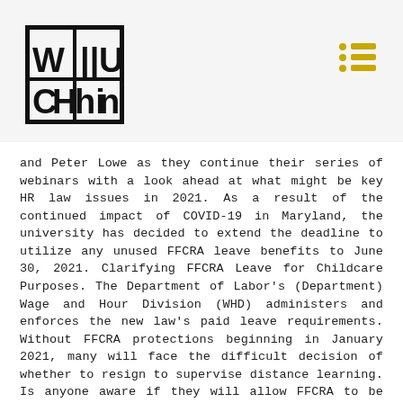WILLU CHIN logo and menu icon
and Peter Lowe as they continue their series of webinars with a look ahead at what might be key HR law issues in 2021. As a result of the continued impact of COVID-19 in Maryland, the university has decided to extend the deadline to utilize any unused FFCRA leave benefits to June 30, 2021. Clarifying FFCRA Leave for Childcare Purposes. The Department of Labor's (Department) Wage and Hour Division (WHD) administers and enforces the new law's paid leave requirements. Without FFCRA protections beginning in January 2021, many will face the difficult decision of whether to resign to supervise distance learning. Is anyone aware if they will allow FFCRA to be used more than once this school year? The only constraint that Congress imposed upon USDA's authority to issue these waivers was the requirement in Section 2202(e) that they be issued on or before September 30, 2020. By Sara J. Ackermann and Nicole L